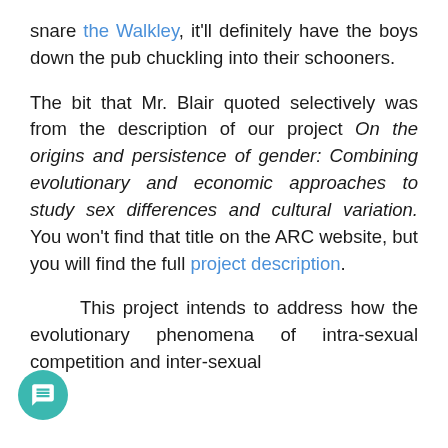snare the Walkley, it'll definitely have the boys down the pub chuckling into their schooners.
The bit that Mr. Blair quoted selectively was from the description of our project On the origins and persistence of gender: Combining evolutionary and economic approaches to study sex differences and cultural variation. You won't find that title on the ARC website, but you will find the full project description.
This project intends to address how the evolutionary phenomena of intra-sexual competition and inter-sexual